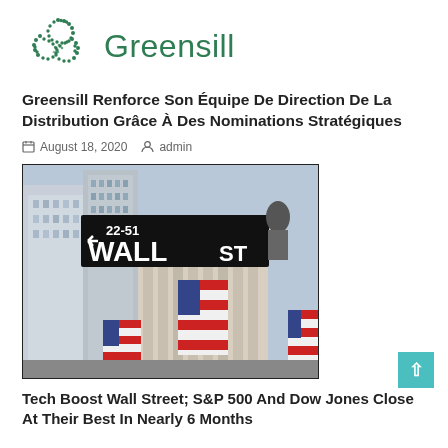[Figure (logo): Greensill company logo with green dotted leaf/clover graphic and text 'Greensill' in green]
Greensill Renforce Son Équipe De Direction De La Distribution Grâce À Des Nominations Stratégiques
August 18, 2020   admin
[Figure (photo): Wall Street sign photo with American flag and buildings in background]
Tech Boost Wall Street; S&P 500 And Dow Jones Close At Their Best In Nearly 6 Months